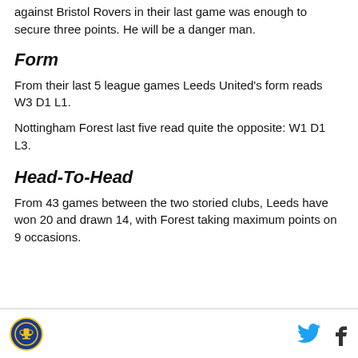against Bristol Rovers in their last game was enough to secure three points. He will be a danger man.
Form
From their last 5 league games Leeds United's form reads W3 D1 L1.
Nottingham Forest last five read quite the opposite: W1 D1 L3.
Head-To-Head
From 43 games between the two storied clubs, Leeds have won 20 and drawn 14, with Forest taking maximum points on 9 occasions.
Logo and social media icons